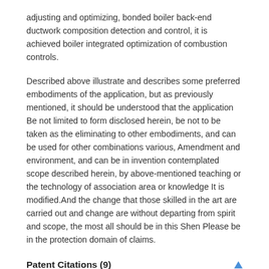adjusting and optimizing, bonded boiler back-end ductwork composition detection and control, it is achieved boiler integrated optimization of combustion controls.
Described above illustrate and describes some preferred embodiments of the application, but as previously mentioned, it should be understood that the application Be not limited to form disclosed herein, be not to be taken as the eliminating to other embodiments, and can be used for other combinations various, Amendment and environment, and can be in invention contemplated scope described herein, by above-mentioned teaching or the technology of association area or knowledge It is modified.And the change that those skilled in the art are carried out and change are without departing from spirit and scope, the most all should be in this Shen Please be in the protection domain of claims.
Patent Citations (9)
| Publication number | Priority date | Publication date | Ass |
| --- | --- | --- | --- |